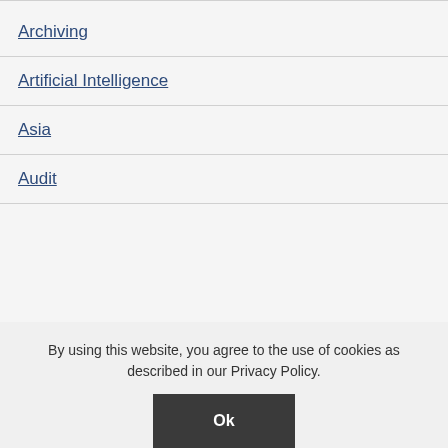Archiving
Artificial Intelligence
Asia
Audit
By using this website, you agree to the use of cookies as described in our Privacy Policy.
Ok